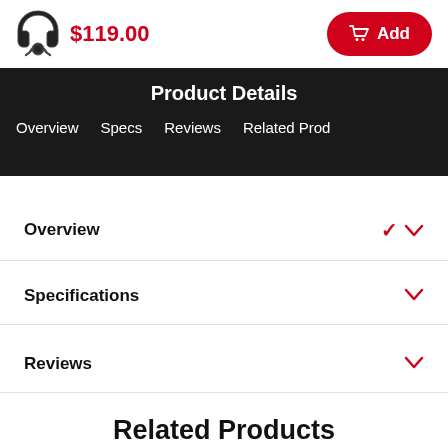[Figure (illustration): Headphone product icon in dark color]
$119.00
Add
Product Details
Overview   Specs   Reviews   Related Prod
Overview
Specifications
Reviews
Related Products